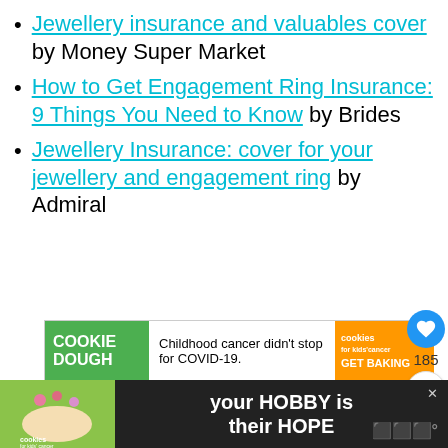Jewellery insurance and valuables cover by Money Super Market
How to Get Engagement Ring Insurance: 9 Things You Need to Know by Brides
Jewellery Insurance: cover for your jewellery and engagement ring by Admiral
[Figure (screenshot): Cookie Dough advertisement banner: Childhood cancer didn't stop for COVID-19. Cookies for kids' cancer GET BAKING]
[Figure (screenshot): Social sharing panel with heart button showing 185 likes and a share button]
[Figure (screenshot): What's Next panel with thumbnail and text: A Guide To Planning Yo...]
[Figure (screenshot): Bottom banner ad: Cookies for Kids' Cancer - your HOBBY is their HOPE]